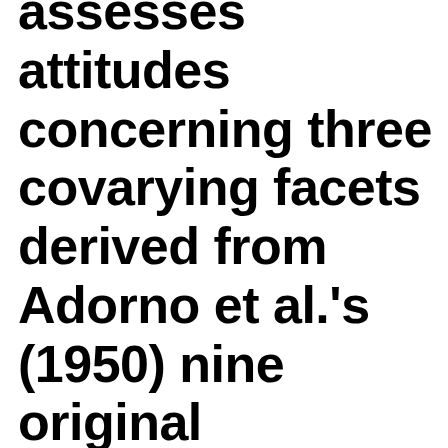assesses attitudes concerning three covarying facets derived from Adorno et al.'s (1950) nine original dimensions: Authoritarian submission, authoritarian aggression, and conventionalism